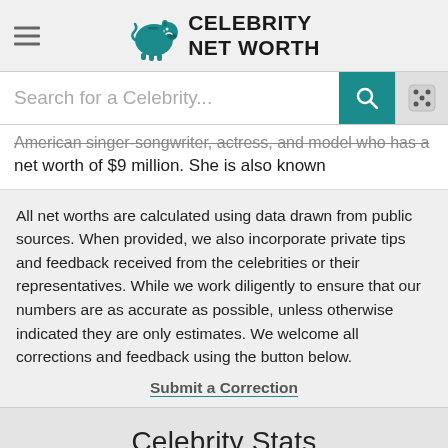Celebrity Net Worth
Search for a Celebrity...
American singer-songwriter, actress, and model who has a net worth of $9 million. She is also known
All net worths are calculated using data drawn from public sources. When provided, we also incorporate private tips and feedback received from the celebrities or their representatives. While we work diligently to ensure that our numbers are as accurate as possible, unless otherwise indicated they are only estimates. We welcome all corrections and feedback using the button below.
Submit a Correction
Celebrity Stats
NAME